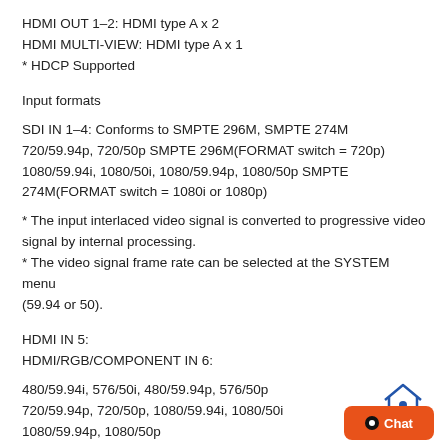HDMI OUT 1–2: HDMI type A x 2
HDMI MULTI-VIEW: HDMI type A x 1
* HDCP Supported
Input formats
SDI IN 1–4: Conforms to SMPTE 296M, SMPTE 274M
720/59.94p, 720/50p SMPTE 296M(FORMAT switch = 720p)
1080/59.94i, 1080/50i, 1080/59.94p, 1080/50p SMPTE 274M(FORMAT switch = 1080i or 1080p)
* The input interlaced video signal is converted to progressive video signal by internal processing.
* The video signal frame rate can be selected at the SYSTEM menu (59.94 or 50).
HDMI IN 5:
HDMI/RGB/COMPONENT IN 6:
480/59.94i, 576/50i, 480/59.94p, 576/50p
720/59.94p, 720/50p, 1080/59.94i, 1080/50i
1080/59.94p, 1080/50p